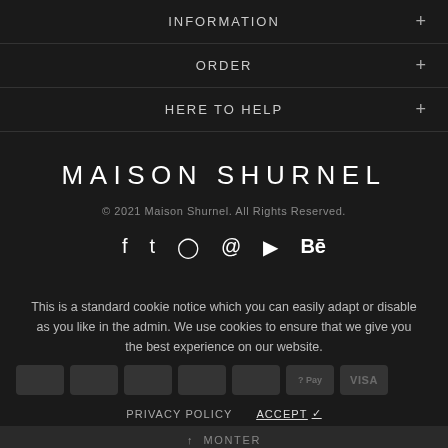INFORMATION +
ORDER +
HERE TO HELP +
MAISON SHURNEL
© 2021 Maison Shurnel. All Rights Reserved.
[Figure (infographic): Social media icons: Facebook, Twitter, Instagram, Pinterest, YouTube, Behance]
This is a standard cookie notice which you can easily adapt or disable as you like in the admin. We use cookies to ensure that we give you the best experience on our website.
[Figure (infographic): Payment method icons including Apple Pay, Visa, and others shown as grey boxes]
PRIVACY POLICY   ACCEPT ✓
↑ MONTER